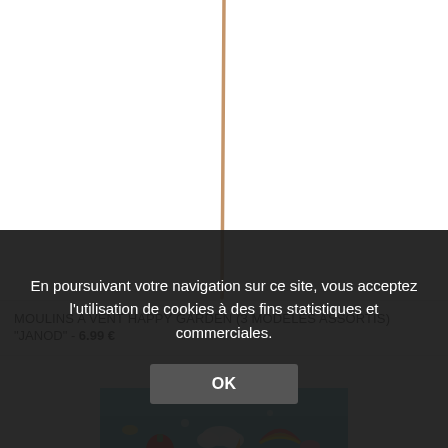[Figure (photo): A stick or skewer shape on white background, representing a garden windmill stick]
MOULINS A VENT HAPPY GARDEN (3 MODELES ASSORTIS) "JANOD" - 6.99 €
[Figure (photo): Colorful box with rainbow, strawberry, cloud and other playful illustrations on a teal background]
En poursuivant votre navigation sur ce site, vous acceptez l'utilisation de cookies à des fins statistiques et commerciales.
OK